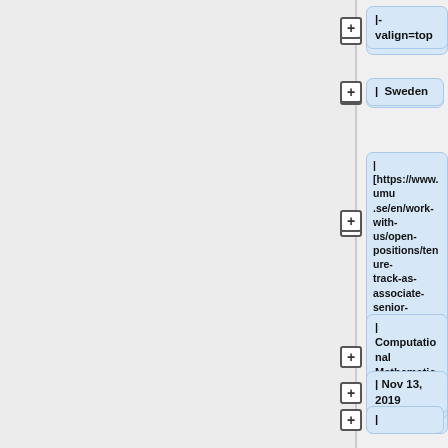|- valign=top
|  Sweden
| [https://www.umu.se/en/work-with-us/open-positions/tenure-track-as-associate-senior-lecturer-in-computational-mathematics_243345/ U Umeå]*
|  Computational Mathematics
| Nov 13, 2019
|
|- valign=top
| Sweden